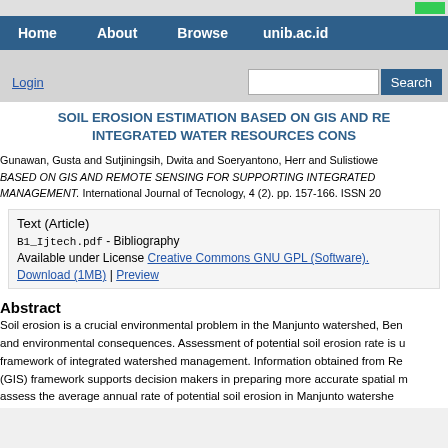Home | About | Browse | unib.ac.id
SOIL EROSION ESTIMATION BASED ON GIS AND REMOTE SENSING FOR SUPPORTING INTEGRATED WATER RESOURCES CONSERVATION MANAGEMENT
Gunawan, Gusta and Sutjiningsih, Dwita and Soeryantono, Herr and Sulistioweni, SOIL EROSION ESTIMATION BASED ON GIS AND REMOTE SENSING FOR SUPPORTING INTEGRATED WATER RESOURCES CONSERVATION MANAGEMENT. International Journal of Tecnology, 4 (2). pp. 157-166. ISSN 20...
Text (Article)
B1_Ijtech.pdf - Bibliography
Available under License Creative Commons GNU GPL (Software).
Download (1MB) | Preview
Abstract
Soil erosion is a crucial environmental problem in the Manjunto watershed, Bengkulu and environmental consequences. Assessment of potential soil erosion rate is undertaken in the framework of integrated watershed management. Information obtained from Remote Sensing and (GIS) framework supports decision makers in preparing more accurate spatial maps used to assess the average annual rate of potential soil erosion in Manjunto watershed...